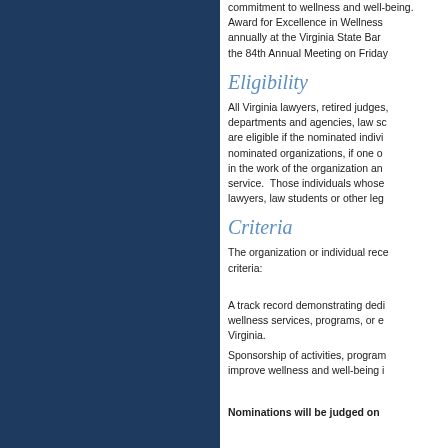commitment to wellness and well-being. Award for Excellence in Wellness annually at the Virginia State Bar the 84th Annual Meeting on Friday
Eligibility
All Virginia lawyers, retired judges, departments and agencies, law schools are eligible if the nominated individual nominated organizations, if one or more in the work of the organization and service. Those individuals whose lawyers, law students or other legal
Criteria
The organization or individual receiving criteria:
A track record demonstrating dedication to wellness services, programs, or education in Virginia.
Sponsorship of activities, programs, or events that improve wellness and well-being in
Nominations will be judged on